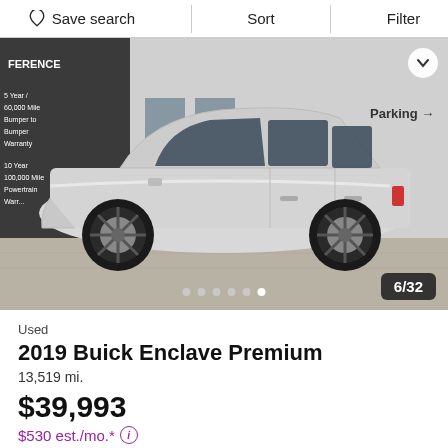Save search   Sort   Filter
[Figure (photo): Side profile photo of a silver 2019 Buick Enclave Premium SUV parked in front of a dealership building showing phone number 412-831-0700. Image counter shows 6/32.]
Used
2019 Buick Enclave Premium
13,519 mi.
$39,993
$530 est./mo.*